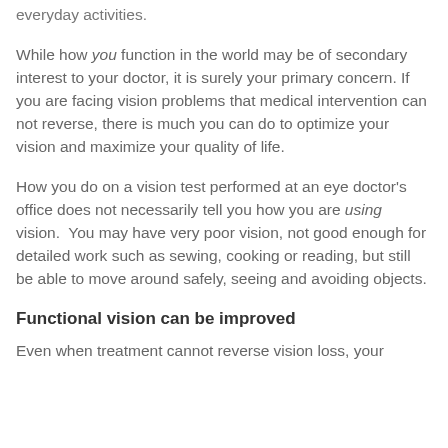everyday activities.
While how you function in the world may be of secondary interest to your doctor, it is surely your primary concern. If you are facing vision problems that medical intervention can not reverse, there is much you can do to optimize your vision and maximize your quality of life.
How you do on a vision test performed at an eye doctor's office does not necessarily tell you how you are using vision. You may have very poor vision, not good enough for detailed work such as sewing, cooking or reading, but still be able to move around safely, seeing and avoiding objects.
Functional vision can be improved
Even when treatment cannot reverse vision loss, your